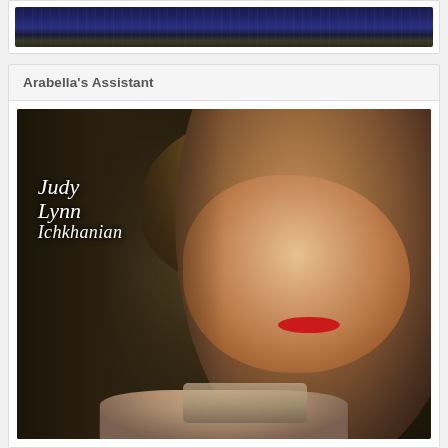[Figure (photo): Partial top view of a nighttime cityscape or landmark photo, showing dark blue sky and city lights]
Arabella's Assistant
[Figure (photo): Book cover for a novel by Judy Lynn Ichkhanian titled Arabella's Assistant. Features a young woman with curly blonde hair, red lips, and a vintage-style decorated bodice against a dark textured background, with the author name in white italic script on the left side.]